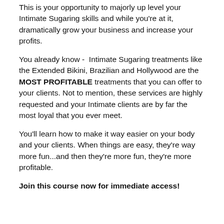This is your opportunity to majorly up level your Intimate Sugaring skills and while you're at it, dramatically grow your business and increase your profits.
You already know - Intimate Sugaring treatments like the Extended Bikini, Brazilian and Hollywood are the MOST PROFITABLE treatments that you can offer to your clients. Not to mention, these services are highly requested and your Intimate clients are by far the most loyal that you ever meet.
You'll learn how to make it way easier on your body and your clients. When things are easy, they're way more fun...and then they're more fun, they're more profitable.
Join this course now for immediate access!